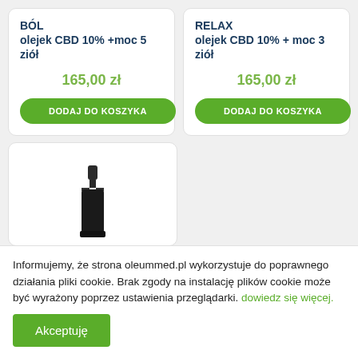BÓL olejek CBD 10% +moc 5 ziół
165,00 zł
DODAJ DO KOSZYKA
RELAX olejek CBD 10% + moc 3 ziół
165,00 zł
DODAJ DO KOSZYKA
[Figure (photo): Partial product card showing a CBD oil dropper bottle image cropped at bottom of visible area]
Informujemy, że strona oleummed.pl wykorzystuje do poprawnego działania pliki cookie. Brak zgody na instalację plików cookie może być wyrażony poprzez ustawienia przeglądarki. dowiedz się więcej.
Akceptuję